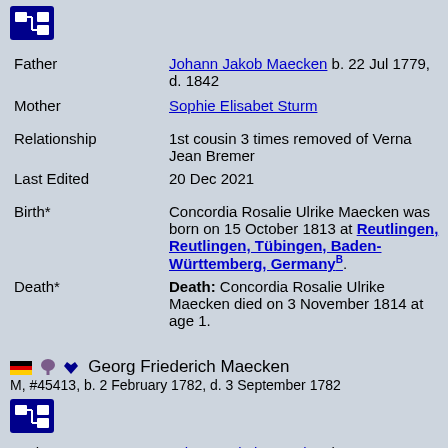[Figure (other): Blue pedigree/family tree icon button]
Father   Johann Jakob Maecken b. 22 Jul 1779, d. 1842
Mother   Sophie Elisabet Sturm
Relationship   1st cousin 3 times removed of Verna Jean Bremer
Last Edited   20 Dec 2021
Birth*   Concordia Rosalie Ulrike Maecken was born on 15 October 1813 at Reutlingen, Reutlingen, Tübingen, Baden-Württemberg, GermanyB.
Death*   Death: Concordia Rosalie Ulrike Maecken died on 3 November 1814 at age 1.
🇩🇪 🌲 💙 Georg Friederich Maecken
M, #45413, b. 2 February 1782, d. 3 September 1782
[Figure (other): Blue pedigree/family tree icon button]
Father   Johann Jakob Maecken b. 12 Jun 1779...